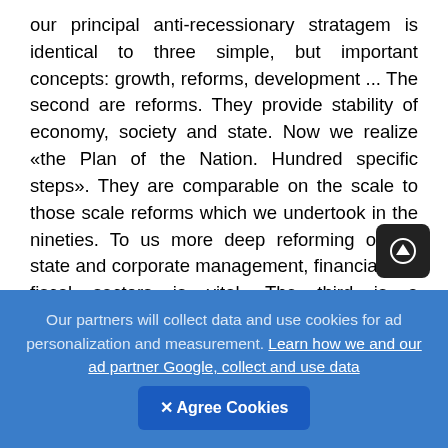our principal anti-recessionary stratagem is identical to three simple, but important concepts: growth, reforms, development ... The second are reforms. They provide stability of economy, society and state. Now we realize «the Plan of the Nation. Hundred specific steps». They are comparable on the scale to those scale reforms which we undertook in the nineties. To us more deep reforming of the state and corporate management, financial and fiscal sectors is vital. The third is a development. In the XXI century the continuous upgrade of all spheres of society becomes the main factor of development. We carry operation on scale conversion of all state, public and private institutes on the principles of Society of Universal Work, high social responsibility,
Our partners will collect data and use cookies for ad personalization and measurement. Learn how we and our ad partner Google, collect and use data